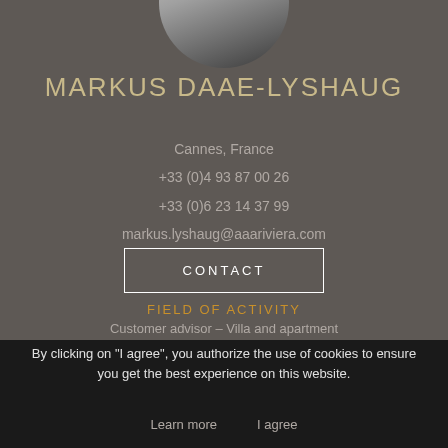[Figure (photo): Partial profile photo of a person in a suit, cropped circular at top]
MARKUS DAAE-LYSHAUG
Cannes, France
+33 (0)4 93 87 00 26
+33 (0)6 23 14 37 99
markus.lyshaug@aaariviera.com
CONTACT
FIELD OF ACTIVITY
Customer advisor – Villa and apartment
By clicking on "I agree", you authorize the use of cookies to ensure you get the best experience on this website.
Learn more    I agree